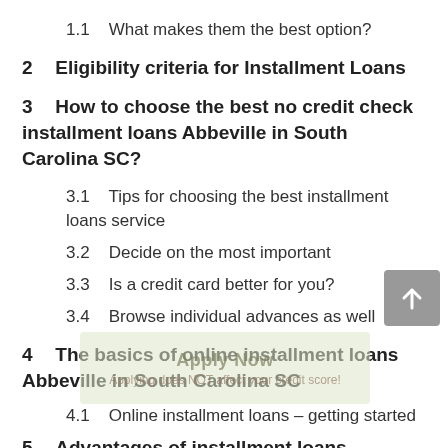1.1  What makes them the best option?
2  Eligibility criteria for Installment Loans
3  How to choose the best no credit check installment loans Abbeville in South Carolina SC?
3.1  Tips for choosing the best installment loans service
3.2  Decide on the most important
3.3  Is a credit card better for you?
3.4  Browse individual advances as well
4  The basics of online installment loans Abbeville in South Carolina SC
4.1  Online installment loans – getting started
5  Advantages of installment loans Abbeville in South Carolina SC